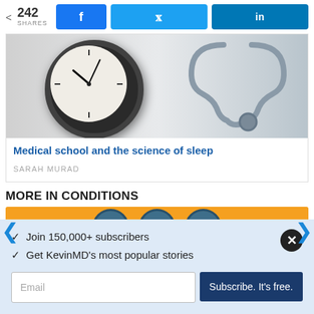< 242 SHARES
[Figure (screenshot): Facebook, Twitter, LinkedIn share buttons in blue]
[Figure (photo): Clock and stethoscope on white background]
Medical school and the science of sleep
SARAH MURAD
MORE IN CONDITIONS
[Figure (photo): Orange background with teal circular objects (scale)]
✓  Join 150,000+ subscribers
✓  Get KevinMD's most popular stories
Email
Subscribe. It's free.